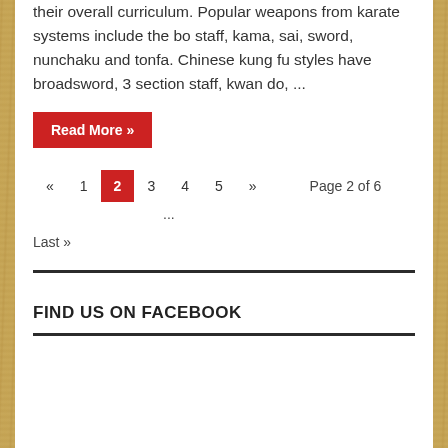their overall curriculum. Popular weapons from karate systems include the bo staff, kama, sai, sword, nunchaku and tonfa. Chinese kung fu styles have broadsword, 3 section staff, kwan do, ...
Read More »
« 1 2 3 4 5 » Page 2 of 6 ... Last »
FIND US ON FACEBOOK